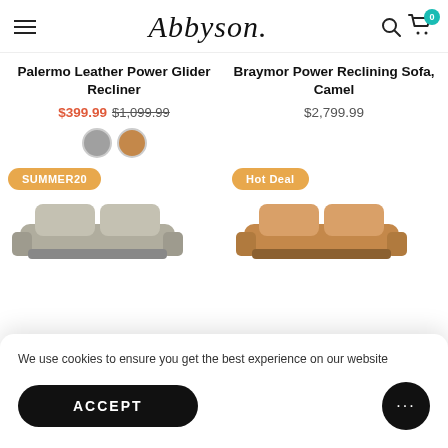Abbyson – navigation header with hamburger menu, logo, search and cart icons
Palermo Leather Power Glider Recliner
$399.99 $1,099.99
Braymor Power Reclining Sofa, Camel
$2,799.99
SUMMER20
Hot Deal
We use cookies to ensure you get the best experience on our website
ACCEPT